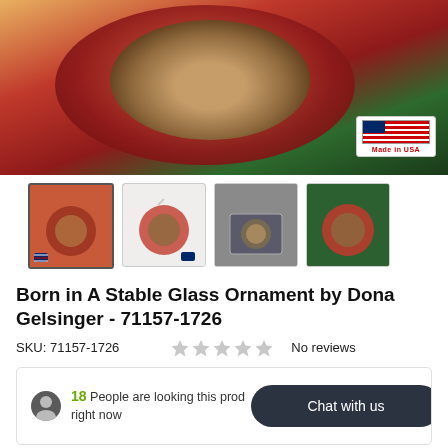[Figure (photo): Main product photo of a Christmas ornament (Born in A Stable glass ornament by Dona Gelsinger) showing a nativity scene inside a red glass ball, with bokeh Christmas lights in the background and a Made in USA badge in the bottom right corner.]
[Figure (photo): Four thumbnail images of the ornament from different angles: hanging on tree, white background, in gift box, and close-up on greenery.]
Born in A Stable Glass Ornament by Dona Gelsinger - 71157-1726
SKU: 71157-1726
No reviews
18 People are looking this product right now
Chat with us